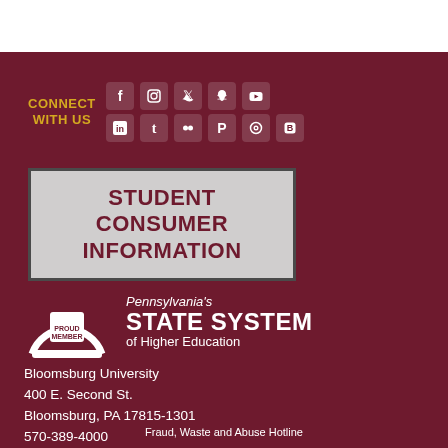[Figure (logo): Social media icons row: Facebook, Instagram, Twitter, Snapchat, YouTube on top row; LinkedIn, Tumblr, Flickr, Pinterest, an icon, Blogger on bottom row, with CONNECT WITH US text in gold]
STUDENT CONSUMER INFORMATION
[Figure (logo): Pennsylvania's State System of Higher Education Proud Member logo with arch and PA state shape]
Bloomsburg University
400 E. Second St.
Bloomsburg, PA 17815-1301
570-389-4000
Fraud, Waste and Abuse Hotline